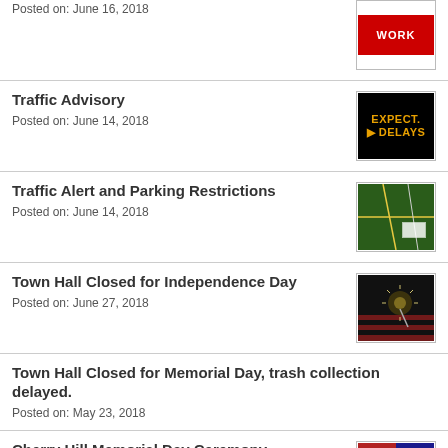Posted on: June 16, 2018
[Figure (photo): Red road work sign with text WORK]
Traffic Advisory
Posted on: June 14, 2018
[Figure (photo): Black sign with orange text reading EXPECT DELAYS]
Traffic Alert and Parking Restrictions
Posted on: June 14, 2018
[Figure (photo): Aerial map view of traffic with green roads highlighted]
Town Hall Closed for Independence Day
Posted on: June 27, 2018
[Figure (photo): Fireworks sparkler with American flag in dark background]
Town Hall Closed for Memorial Day, trash collection delayed.
Posted on: May 23, 2018
Cherry Hill Memorial Day Ceremony
Posted on: May 21, 2018
[Figure (photo): Memorial Day ceremony flyer with patriotic design]